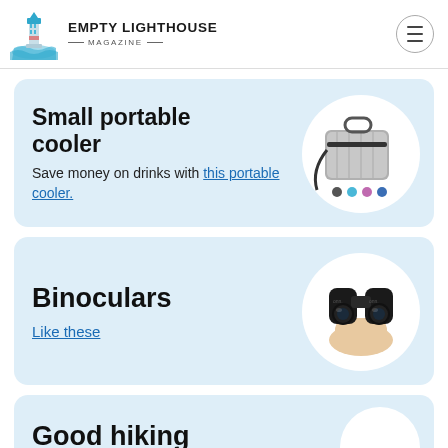EMPTY LIGHTHOUSE MAGAZINE
Small portable cooler
Save money on drinks with this portable cooler.
[Figure (photo): Photo of a grey portable cooler bag with shoulder strap and small color swatches below]
Binoculars
Like these
[Figure (photo): Photo of a hand holding black binoculars]
Good hiking